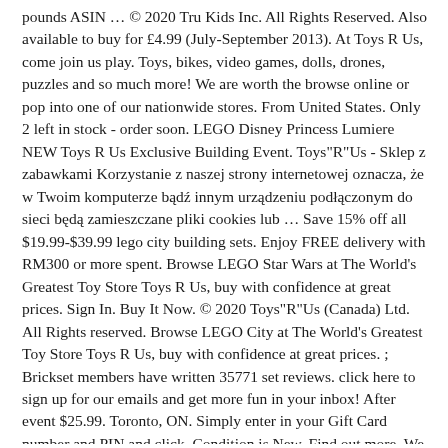pounds ASIN … © 2020 Tru Kids Inc. All Rights Reserved. Also available to buy for £4.99 (July-September 2013). At Toys R Us, come join us play. Toys, bikes, video games, dolls, drones, puzzles and so much more! We are worth the browse online or pop into one of our nationwide stores. From United States. Only 2 left in stock - order soon. LEGO Disney Princess Lumiere NEW Toys R Us Exclusive Building Event. Toys"R"Us - Sklep z zabawkami Korzystanie z naszej strony internetowej oznacza, że w Twoim komputerze bądź innym urządzeniu podłączonym do sieci będą zamieszczane pliki cookies lub … Save 15% off all $19.99-$39.99 lego city building sets. Enjoy FREE delivery with RM300 or more spent. Browse LEGO Star Wars at The World's Greatest Toy Store Toys R Us, buy with confidence at great prices. Sign In. Buy It Now. © 2020 Toys"R"Us (Canada) Ltd. All Rights reserved. Browse LEGO City at The World's Greatest Toy Store Toys R Us, buy with confidence at great prices. ; Brickset members have written 35771 set reviews. click here to sign up for our emails and get more fun in your inbox! After event $25.99. Toronto, ON. Simply enter in your Gift Card number and PIN and click. Condition is New. Find out more. We are worth the browse online or pop into one of our nationwide stores. It has solidified its position by offering a differentiated shopping experience through its family of brands. Toys R Us LEGO Building Block Storage Drawer Base Plate Case, with Legos. Toys & Games : Lego Star Wars Building Sets - Find Toys & Games deals, coupons and sales